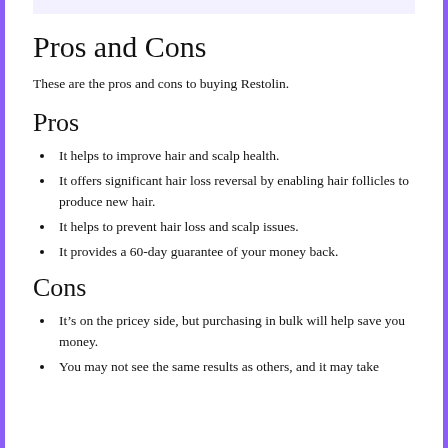Pros and Cons
These are the pros and cons to buying Restolin.
Pros
It helps to improve hair and scalp health.
It offers significant hair loss reversal by enabling hair follicles to produce new hair.
It helps to prevent hair loss and scalp issues.
It provides a 60-day guarantee of your money back.
Cons
It’s on the pricey side, but purchasing in bulk will help save you money.
You may not see the same results as others, and it may take